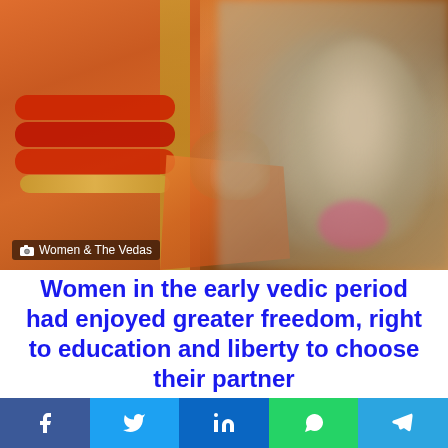[Figure (photo): Indian wedding ceremony photo showing bride and groom in traditional orange/red attire with bangles and henna, holding hands with orange fabric, blurred figures in background. Caption reads: Women & The Vedas]
Women in the early vedic period had enjoyed greater freedom, right to education and liberty to choose their partner